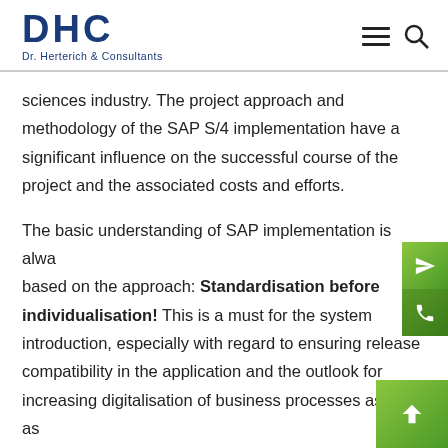DHC Dr. Herterich & Consultants
sciences industry. The project approach and methodology of the SAP S/4 implementation have a significant influence on the successful course of the project and the associated costs and efforts.
The basic understanding of SAP implementation is always based on the approach: Standardisation before individualisation! This is a must for the system introduction, especially with regard to ensuring release compatibility in the application and the outlook for increasing digitalisation of business processes as well as